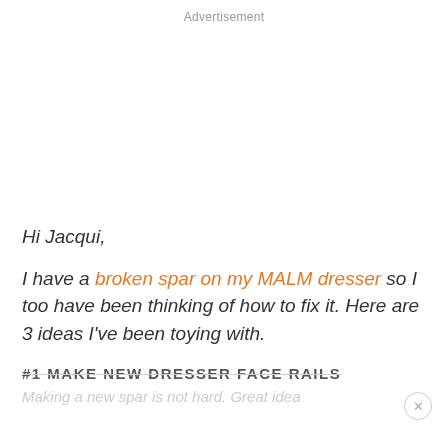Advertisement
Hi Jacqui,
I have a broken spar on my MALM dresser so I too have been thinking of how to fix it. Here are 3 ideas I've been toying with.
#1 MAKE NEW DRESSER FACE RAILS
Making a new spar is not hard. Great idea